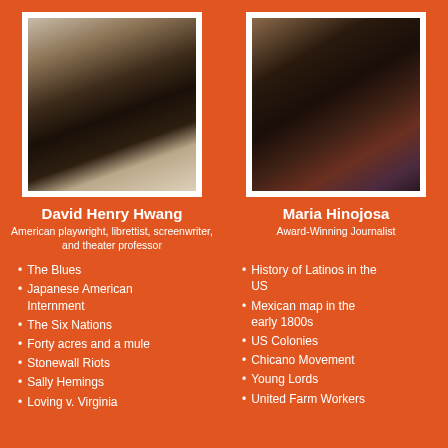[Figure (photo): Portrait photo of David Henry Hwang, a middle-aged Asian man with gray-streaked hair, smiling, wearing dark clothing]
[Figure (photo): Portrait photo of Maria Hinojosa, a Latina woman with dark curly hair, smiling, wearing hoop earrings, chin resting on hands]
David Henry Hwang
American playwright, librettist, screenwriter, and theater professor
Maria Hinojosa
Award-Winning Journalist
The Blues
Japanese American Internment
The Six Nations
Forty acres and a mule
Stonewall Riots
Sally Hemings
Loving v. Virginia
History of Latinos in the US
Mexican map in the early 1800s
US Colonies
Chicano Movement
Young Lords
United Farm Workers